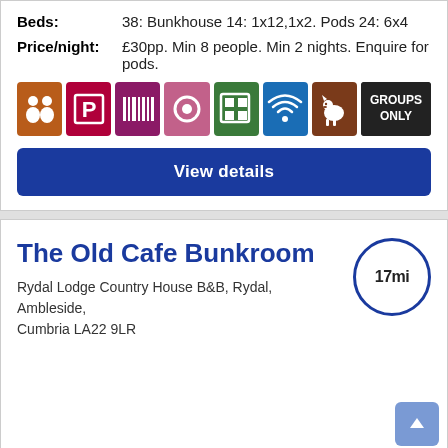Beds: 38: Bunkhouse 14: 1x12,1x2. Pods 24: 6x4
Price/night: £30pp. Min 8 people. Min 2 nights. Enquire for pods.
[Figure (infographic): Row of amenity icons: people/groups, parking, barcode/self-check-in, dining, grid/facilities, wifi, dog-friendly, GROUPS ONLY text badge]
View details
The Old Cafe Bunkroom
Rydal Lodge Country House B&B, Rydal, Ambleside, Cumbria LA22 9LR
[Figure (infographic): Distance circle showing 17mi]